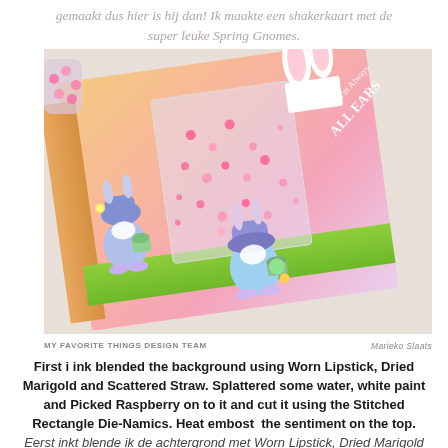gemaakt dus hier is hij dan! Ik maakte een shakerkaart met de super leuke Spring Gnomes.
[Figure (photo): A handmade shaker card featuring Spring Gnomes characters with bunny ears, Easter eggs, and flowers on a colorful gradient background with pink sequins. Text reads 'I'm Always ALL EARS'. Labeled MY FAVORITE THINGS DESIGN TEAM and Marieko Slaats.]
MY FAVORITE THINGS DESIGN TEAM    Marieko Slaats
First i ink blended the background using Worn Lipstick, Dried Marigold and Scattered Straw. Splattered some water, white paint and Picked Raspberry on to it and cut it using the Stitched Rectangle Die-Namics. Heat embost  the sentiment on the top. Eerst inkt blende ik de achtergrond met Worn Lipstick, Dried Marigold en Scattered Straw Distress inkten. Spetterde